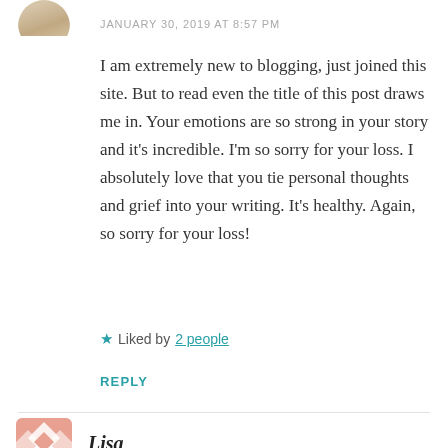[Figure (photo): Partial avatar photo at top left, cropped circular user profile image]
JANUARY 30, 2019 AT 8:57 PM
I am extremely new to blogging, just joined this site. But to read even the title of this post draws me in. Your emotions are so strong in your story and it’s incredible. I’m so sorry for your loss. I absolutely love that you tie personal thoughts and grief into your writing. It’s healthy. Again, so sorry for your loss!
Liked by 2 people
REPLY
[Figure (logo): Decorative avatar icon for user Lisa, red/coral diamond pattern logo]
Lisa